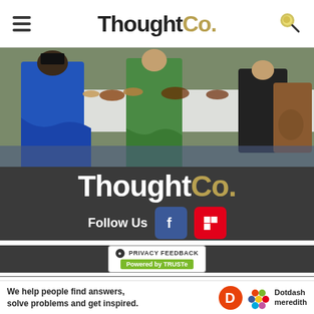ThoughtCo.
[Figure (photo): Medieval illuminated manuscript painting showing figures in colorful robes (blue, green) standing around a table with food/feast scene]
[Figure (logo): ThoughtCo. logo in white and gold on dark background]
Follow Us
[Figure (infographic): Privacy Feedback badge - Powered by TRUSTe, with green bar]
Science, Tech, Math
Humanities
Ad
We help people find answers, solve problems and get inspired.
[Figure (logo): Dotdash Meredith logo with D icon and colorful hexagonal pattern]